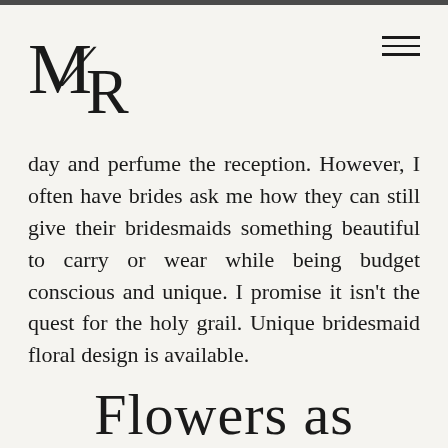[Figure (logo): M/R monogram logo in serif font]
day and perfume the reception. However, I often have brides ask me how they can still give their bridesmaids something beautiful to carry or wear while being budget conscious and unique. I promise it isn't the quest for the holy grail. Unique bridesmaid floral design is available.
Flowers as